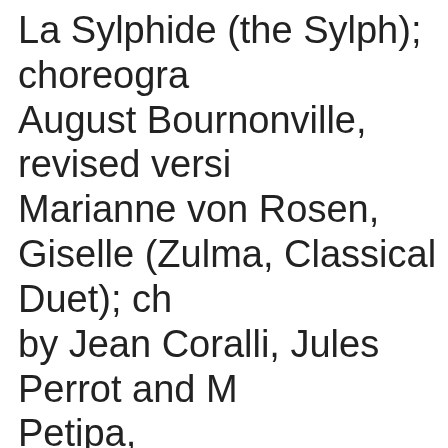La Sylphide (the Sylph); choreography by August Bournonville, revised version by Marianne von Rosen, Giselle (Zulma, Classical Duet); choreography by Jean Coralli, Jules Perrot and Marius Petipa, La Bayadère (Gamzatti, Shades); choreography by Marius Petipa, revised version by Vladimir Ponomarev and Chabukiani;